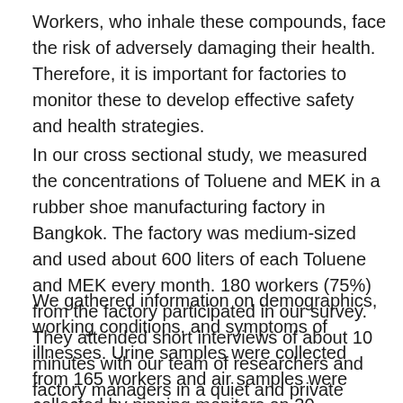Workers, who inhale these compounds, face the risk of adversely damaging their health. Therefore, it is important for factories to monitor these to develop effective safety and health strategies.
In our cross sectional study, we measured the concentrations of Toluene and MEK in a rubber shoe manufacturing factory in Bangkok. The factory was medium-sized and used about 600 liters of each Toluene and MEK every month. 180 workers (75%) from the factory participated in our survey. They attended short interviews of about 10 minutes with our team of researchers and factory managers in a quiet and private room.
We gathered information on demographics, working conditions, and symptoms of illnesses. Urine samples were collected from 165 workers and air samples were collected by pinning monitors on 20 workers. A walking observation survey was also conducted in the end to capture any other information that may have been useful.